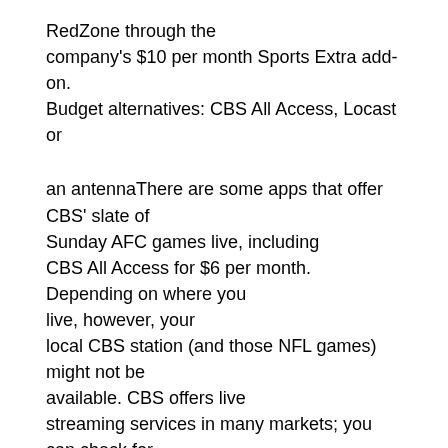RedZone through the company's $10 per month Sports Extra add-on. Budget alternatives: CBS All Access, Locast or
an antennaThere are some apps that offer CBS' slate of Sunday AFC games live, including CBS All Access for $6 per month. Depending on where you live, however, your local CBS station (and those NFL games) might not be available. CBS offers live streaming services in many markets; you can check for yourself if your area has live CBS streaming here.
Locast, meanwhile, is 100% free. It's currently offered in only 23 cities, however, and not all will have CBS, Fox and NBC. And as we